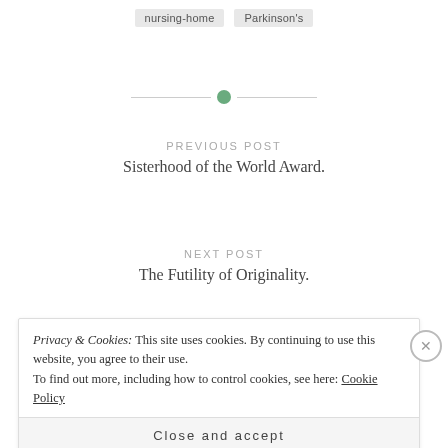nursing-home   Parkinson's
PREVIOUS POST
Sisterhood of the World Award.
NEXT POST
The Futility of Originality.
Privacy & Cookies: This site uses cookies. By continuing to use this website, you agree to their use. To find out more, including how to control cookies, see here: Cookie Policy
Close and accept